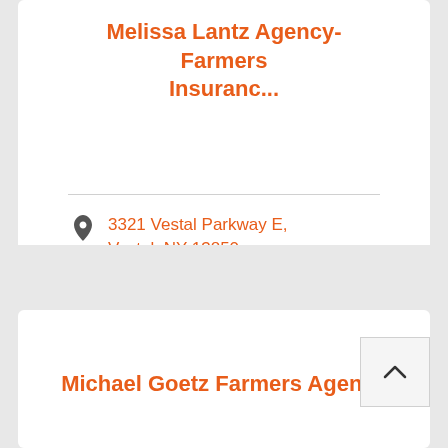Melissa Lantz Agency-Farmers Insuranc...
3321 Vestal Parkway E, Vestal, NY 13850
(607) 723-2386
Michael Goetz Farmers Agency